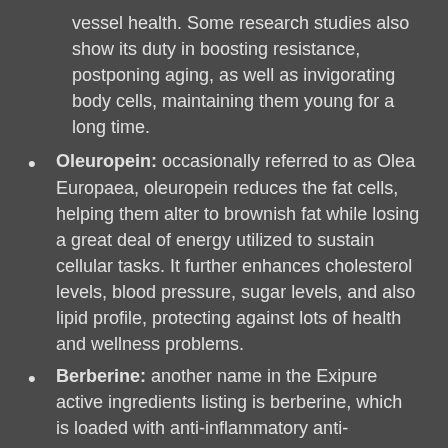vessel health. Some research studies also show its duty in boosting resistance, postponing aging, as well as invigorating body cells, maintaining them young for a long time.
Oleuropein: occasionally referred to as Olea Europaea, oleuropein reduces the fat cells, helping them alter to brownish fat while losing a great deal of energy utilized to sustain cellular tasks. It further enhances cholesterol levels, blood pressure, sugar levels, and also lipid profile, protecting against lots of health and wellness problems.
Berberine: another name in the Exipure active ingredients listing is berberine, which is loaded with anti-inflammatory anti-oxidants. It assists clear the body from contaminants,